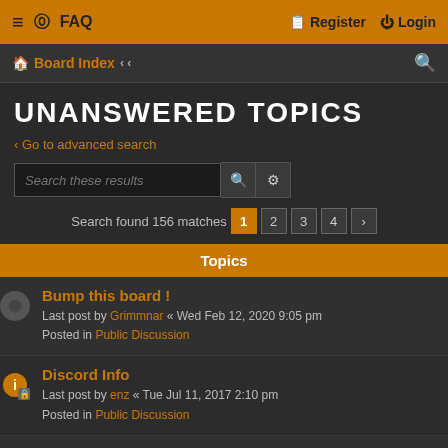≡  FAQ   Register  Login
Board Index  « «
UNANSWERED TOPICS
< Go to advanced search
Search found 156 matches  1  2  3  4  >
Topics
Bump this board !
Last post by Grimmnar « Wed Feb 12, 2020 9:05 pm
Posted in Public Discussion
Discord Info
Last post by enz « Tue Jul 11, 2017 2:10 pm
Posted in Public Discussion
anyone playing fallout 4?
Last post by donlep « Wed Nov 11, 2015 1:28 pm
Posted in Public Discussion
Original GW2 free
Last post by enz « Sat Aug 29, 2015 6:09 pm
Posted in Public Discussion